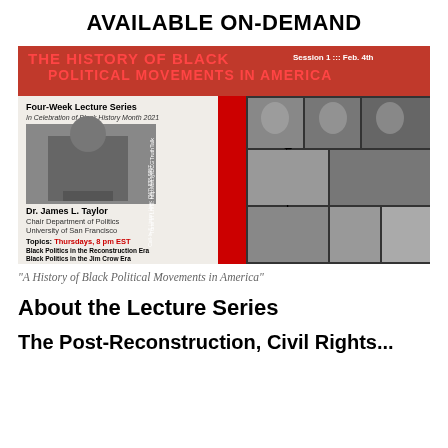AVAILABLE ON-DEMAND
[Figure (illustration): Promotional poster for 'The History of Black Political Movements in America' - a Four-Week Lecture Series in Celebration of Black History Month 2021 featuring Dr. James L. Taylor, Chair Department of Politics, University of San Francisco. Topics: Black Politics in the Reconstruction Era, Black Politics in the Jim Crow Era, Black Politics in the Civil Rights Era, Black Politics in the Black Power Era. Thursdays, 8 pm EST. Session 1 ::: Feb. 4th. Black History Matters. Tune in LIVE: http://bit.ly/DCGTruthTalk, Call-In & Listen Line: (347) 838-9857. Collage of historical Black political figures.]
"A History of Black Political Movements in America"
About the Lecture Series
The Post-Reconstruction, Civil Rights...